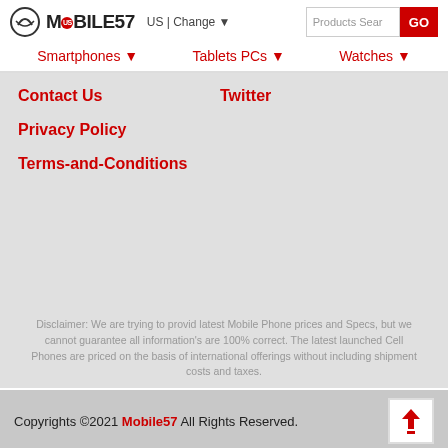MOBILE57 US | Change ▼  [Products Search] GO
Smartphones ▼   Tablets PCs ▼   Watches ▼
Contact Us
Twitter
Privacy Policy
Terms-and-Conditions
Disclaimer: We are trying to provid latest Mobile Phone prices and Specs, but we cannot guarantee all information's are 100% correct. The latest launched Cell Phones are priced on the basis of international offerings without including shipment costs and taxes.
Copyrights ©2021 Mobile57 All Rights Reserved.